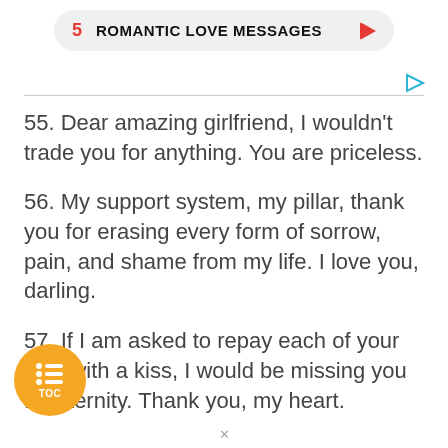5 ROMANTIC LOVE MESSAGES
55. Dear amazing girlfriend, I wouldn't trade you for anything. You are priceless.
56. My support system, my pillar, thank you for erasing every form of sorrow, pain, and shame from my life. I love you, darling.
57. If I am asked to repay each of your kind with a kiss, I would be missing you for eternity. Thank you, my heart.